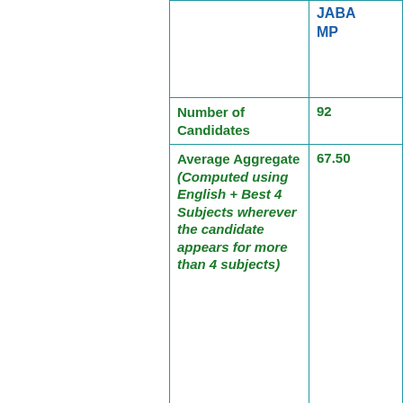|  | JABАЛMP |
| --- | --- |
| Number of Candidates | 92 |
| Average Aggregate (Computed using English + Best 4 Subjects wherever the candidate appears for more than 4 subjects) | 67.50 |
| Highest Aggregate Score | 94.4 |
| Percentage of Students who scored 90% and | 8.69 |